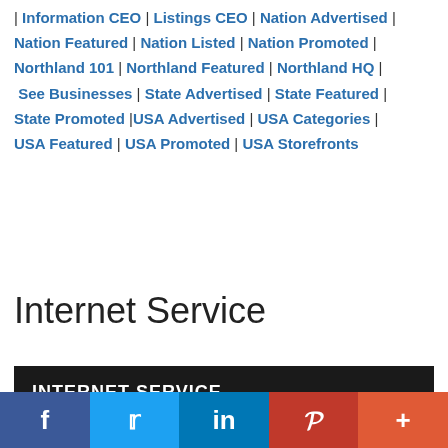| Information CEO | Listings CEO | Nation Advertised | Nation Featured | Nation Listed | Nation Promoted | Northland 101 | Northland Featured | Northland HQ | See Businesses | State Advertised | State Featured | State Promoted |USA Advertised | USA Categories | USA Featured | USA Promoted | USA Storefronts
Internet Service
INTERNET SERVICE
Find and post more national to local business
[Figure (other): Social media share buttons bar: Facebook (blue), Twitter (light blue), LinkedIn (dark blue), Pinterest (red), More/plus (orange-red)]